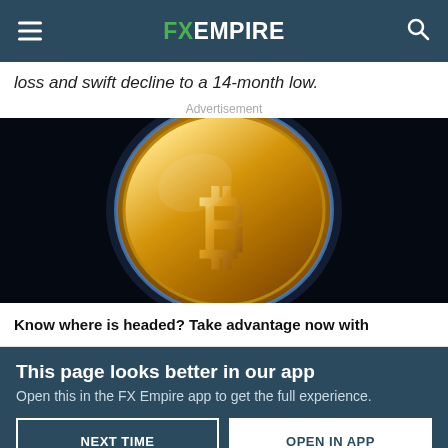FX EMPIRE
loss and swift decline to a 14-month low.
Advertisement
[Figure (photo): Close-up photograph of a gold Bitcoin coin against a dark/black background, showing the Bitcoin symbol (₿) prominently on the coin face with circuit-board style engravings.]
Know where is headed? Take advantage now with
This page looks better in our app
Open this in the FX Empire app to get the full experience.
NEXT TIME
OPEN IN APP